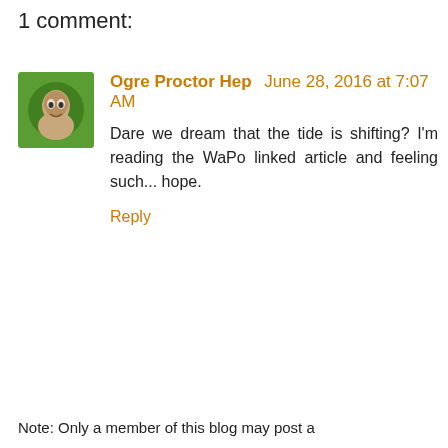1 comment:
Ogre Proctor Hep June 28, 2016 at 7:07 AM
Dare we dream that the tide is shifting? I'm reading the WaPo linked article and feeling such... hope.
Reply
Note: Only a member of this blog may post a